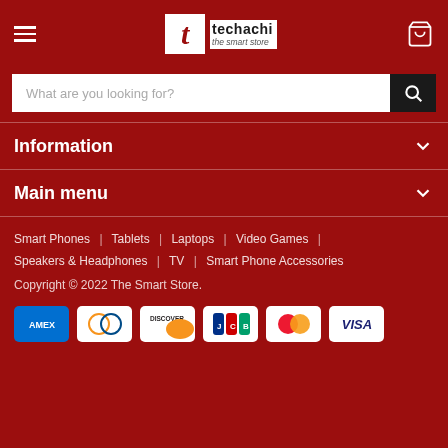[Figure (logo): Techachi - The Smart Store logo with red 't' on white background and red site header]
What are you looking for?
Information
Main menu
Smart Phones | Tablets | Laptops | Video Games | Speakers & Headphones | TV | Smart Phone Accessories
Copyright © 2022 The Smart Store.
[Figure (other): Payment method icons: AMEX, Diners Club, Discover, JCB, Mastercard, Visa]